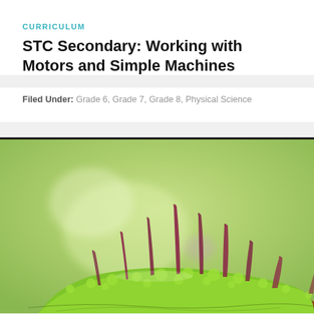CURRICULUM
STC Secondary: Working with Motors and Simple Machines
Filed Under: Grade 6,  Grade 7,  Grade 8,  Physical Science
[Figure (photo): Close-up macro photograph of a Venus flytrap plant showing green spiky lobes with reddish-purple teeth/spines against a soft green blurred background]